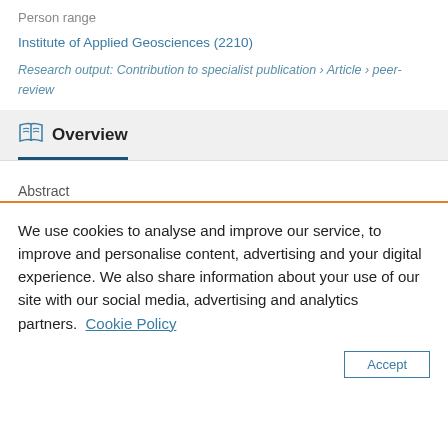Institute of Applied Geosciences (2210)
Research output: Contribution to specialist publication › Article › peer-review
Overview
Abstract
We use cookies to analyse and improve our service, to improve and personalise content, advertising and your digital experience. We also share information about your use of our site with our social media, advertising and analytics partners.  Cookie Policy